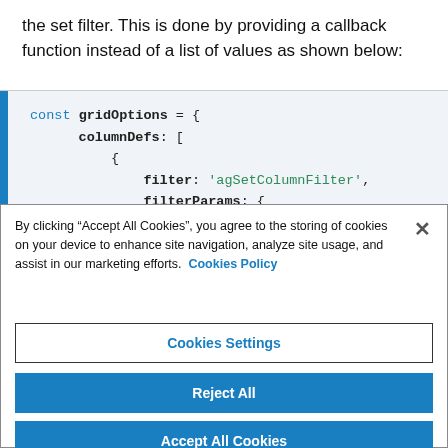the set filter. This is done by providing a callback function instead of a list of values as shown below:
[Figure (screenshot): Code block showing JavaScript gridOptions with columnDefs, filter set to 'agSetColumnFilter', and filterParams opening brace. Blue vertical bar on left side, light blue background.]
By clicking “Accept All Cookies”, you agree to the storing of cookies on your device to enhance site navigation, analyze site usage, and assist in our marketing efforts.  Cookies Policy
Cookies Settings
Reject All
Accept All Cookies